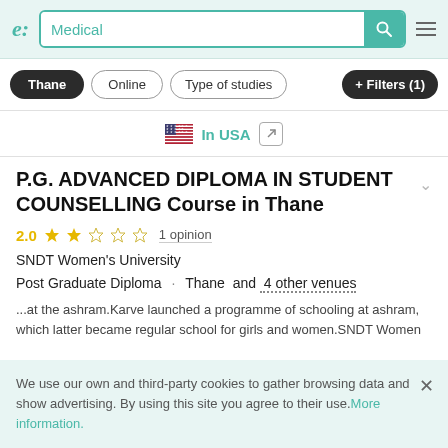e: Medical [search bar] [hamburger menu]
Thane
Online
Type of studies
+ Filters (1)
In USA
P.G. ADVANCED DIPLOMA IN STUDENT COUNSELLING Course in Thane
2.0  1 opinion
SNDT Women's University
Post Graduate Diploma · Thane and 4 other venues
...at the ashram.Karve launched a programme of schooling at ashram, which latter became regular school for girls and women.SNDT Women
We use our own and third-party cookies to gather browsing data and show advertising. By using this site you agree to their use.More information.